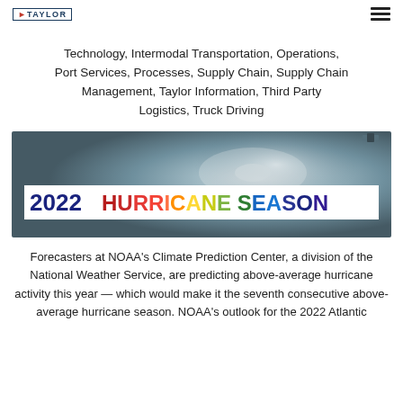GTAYLOR
Technology, Intermodal Transportation, Operations, Port Services, Processes, Supply Chain, Supply Chain Management, Taylor Information, Third Party Logistics, Truck Driving
[Figure (photo): Aerial/satellite view of a hurricane with a banner overlay reading '2022 HURRICANE SEASON' in bold text, with '2022' in dark blue and 'HURRICANE SEASON' in multicolor gradient letters on a white background strip.]
Forecasters at NOAA's Climate Prediction Center, a division of the National Weather Service, are predicting above-average hurricane activity this year — which would make it the seventh consecutive above-average hurricane season. NOAA's outlook for the 2022 Atlantic